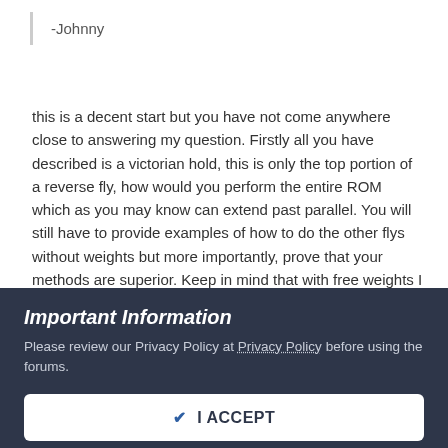-Johnny
this is a decent start but you have not come anywhere close to answering my question. Firstly all you have described is a victorian hold, this is only the top portion of a reverse fly, how would you perform the entire ROM which as you may know can extend past parallel. You will still have to provide examples of how to do the other flys without weights but more importantly, prove that your methods are superior. Keep in mind that with free weights I can do any of the these flys with palms facing up or down or anywhere in between.
If you're not here to convince me then stop trying.
Important Information
Please review our Privacy Policy at Privacy Policy before using the forums.
✔  I ACCEPT